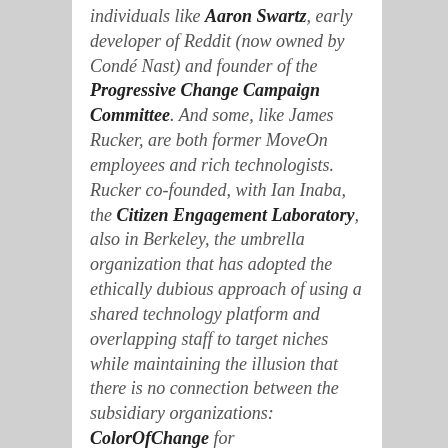individuals like Aaron Swartz, early developer of Reddit (now owned by Condé Nast) and founder of the Progressive Change Campaign Committee. And some, like James Rucker, are both former MoveOn employees and rich technologists. Rucker co-founded, with Ian Inaba, the Citizen Engagement Laboratory, also in Berkeley, the umbrella organization that has adopted the ethically dubious approach of using a shared technology platform and overlapping staff to target niches while maintaining the illusion that there is no connection between the subsidiary organizations: ColorOfChange for